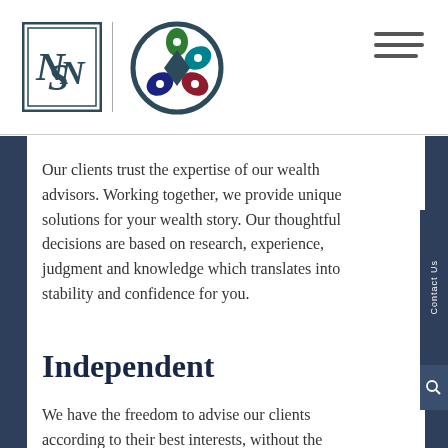[Figure (logo): NSN monogram logo in dark teal square border]
[Figure (logo): Colorful circular geometric logo with green, teal, blue, and red segments]
Our clients trust the expertise of our wealth advisors. Working together, we provide unique solutions for your wealth story. Our thoughtful decisions are based on research, experience, judgment and knowledge which translates into stability and confidence for you.
Independent
We have the freedom to advise our clients according to their best interests, without the